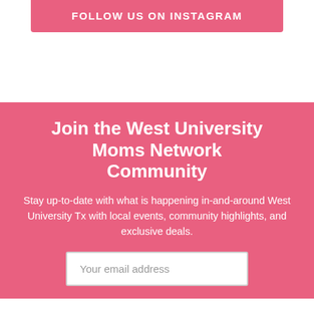FOLLOW US ON INSTAGRAM
Join the West University Moms Network Community
Stay up-to-date with what is happening in-and-around West University Tx with local events, community highlights, and exclusive deals.
Your email address